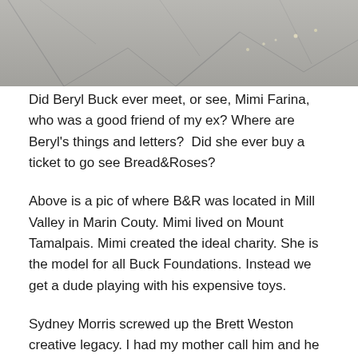[Figure (photo): Aerial or ground-level photo showing a road or pavement surface with cracks, light-colored background with grey tones, small bright reflective dots visible on the surface.]
Did Beryl Buck ever meet, or see, Mimi Farina, who was a good friend of my ex? Where are Beryl's things and letters?  Did she ever buy a ticket to go see Bread&Roses?
Above is a pic of where B&R was located in Mill Valley in Marin Couty. Mimi lived on Mount Tamalpais. Mimi created the ideal charity. She is the model for all Buck Foundations. Instead we get a dude playing with his expensive toys.
Sydney Morris screwed up the Brett Weston creative legacy. I had my mother call him and he and Stacey were about to throw away our family photos.